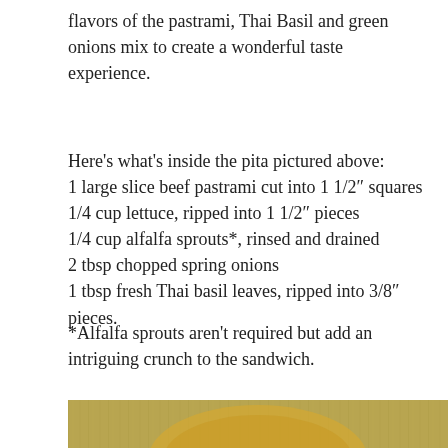flavors of the pastrami, Thai Basil and green onions mix to create a wonderful taste experience.
Here's what's inside the pita pictured above: 1 large slice beef pastrami cut into 1 1/2" squares 1/4 cup lettuce, ripped into 1 1/2" pieces 1/4 cup alfalfa sprouts*, rinsed and drained 2 tbsp chopped spring onions 1 tbsp fresh Thai basil leaves, ripped into 3/8" pieces.
*Alfalfa sprouts aren't required but add an intriguing crunch to the sandwich.
[Figure (photo): Bottom portion of a pita sandwich on a plate, showing the bread and filling from above.]